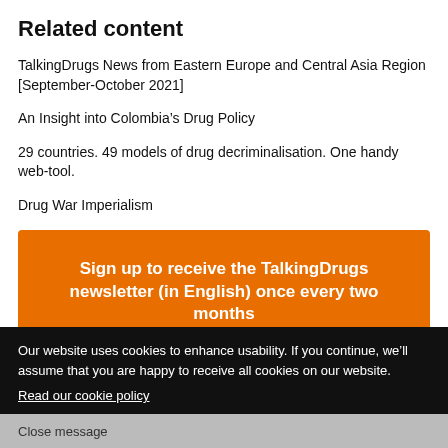Related content
TalkingDrugs News from Eastern Europe and Central Asia Region [September-October 2021]
An Insight into Colombia’s Drug Policy
29 countries. 49 models of drug decriminalisation. One handy web-tool.
Drug War Imperialism
Sign up to receive the TalkingDrugs newsletter (in English) once every two months
Our website uses cookies to enhance usability. If you continue, we’ll assume that you are happy to receive all cookies on our website.
Read our cookie policy
Close message